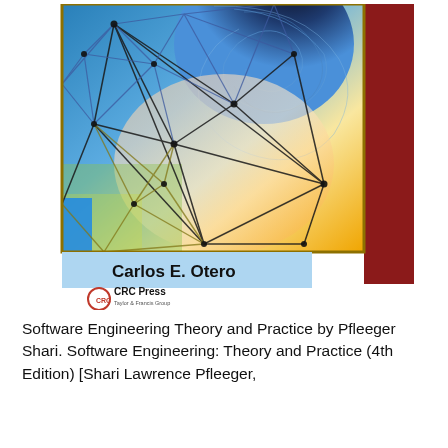[Figure (illustration): Book cover of a software engineering textbook by Carlos E. Otero, published by CRC Press (Taylor & Francis Group), An Auerbach Book. The cover features a geometric network/mesh illustration with colorful triangulated patterns on a blue, yellow, and orange background with a dark spiral tunnel at the top. A red sidebar strip on the right and a blue bar at the bottom left. Author name 'Carlos E. Otero' displayed on a light blue banner. CRC Press logo beneath with 'AN AUERBACH BOOK' text.]
Software Engineering Theory and Practice by Pfleeger Shari. Software Engineering: Theory and Practice (4th Edition) [Shari Lawrence Pfleeger,